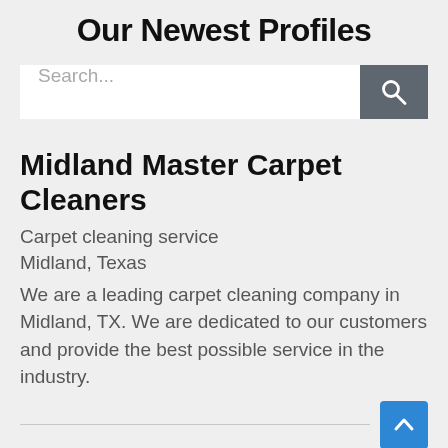Our Newest Profiles
[Figure (screenshot): Search input bar with placeholder text 'Search...' and a dark grey search button with a magnifying glass icon]
Midland Master Carpet Cleaners
Carpet cleaning service
Midland, Texas
We are a leading carpet cleaning company in Midland, TX. We are dedicated to our customers and provide the best possible service in the industry.
Power Wash Plus LLC